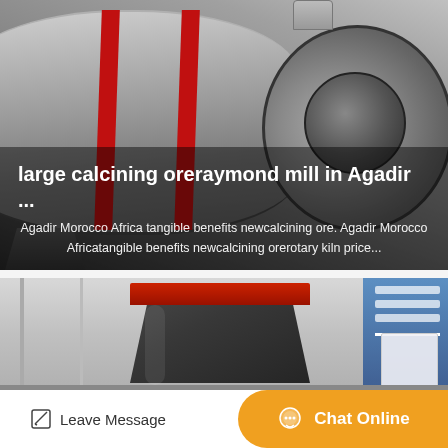[Figure (photo): Large industrial ball mill / calcining ore raymond mill machine, gray cylindrical body with red stripes, viewed from the side in a factory setting]
large calcining oreraymond mill in Agadir ...
Agadir Morocco Africa tangible benefits newcalcining ore. Agadir Morocco Africatangible benefits newcalcining orerotary kiln price...
[Figure (photo): Industrial crusher or hopper machine with dark body and red top band, in a factory/warehouse setting with blue banners on the right]
Leave Message  Chat Online